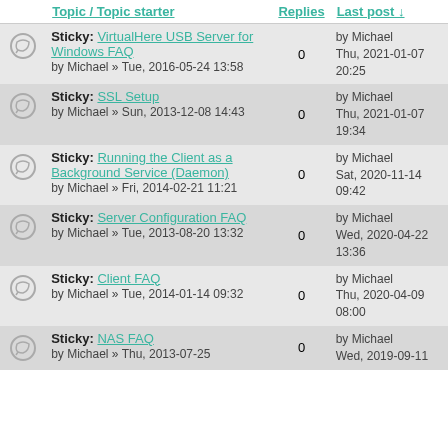| Topic / Topic starter | Replies | Last post |
| --- | --- | --- |
| Sticky: VirtualHere USB Server for Windows FAQ
by Michael » Tue, 2016-05-24 13:58 | 0 | by Michael
Thu, 2021-01-07 20:25 |
| Sticky: SSL Setup
by Michael » Sun, 2013-12-08 14:43 | 0 | by Michael
Thu, 2021-01-07 19:34 |
| Sticky: Running the Client as a Background Service (Daemon)
by Michael » Fri, 2014-02-21 11:21 | 0 | by Michael
Sat, 2020-11-14 09:42 |
| Sticky: Server Configuration FAQ
by Michael » Tue, 2013-08-20 13:32 | 0 | by Michael
Wed, 2020-04-22 13:36 |
| Sticky: Client FAQ
by Michael » Tue, 2014-01-14 09:32 | 0 | by Michael
Thu, 2020-04-09 08:00 |
| Sticky: NAS FAQ
by Michael » Thu, 2013-07-25 | 0 | by Michael
Wed, 2019-09-11 |